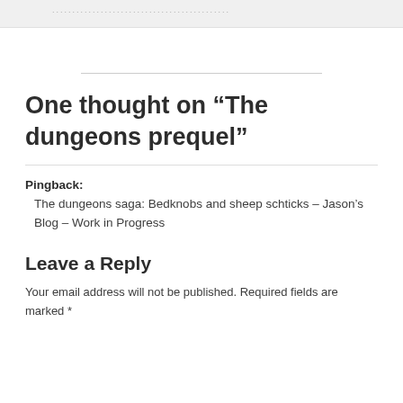....................................
One thought on “The dungeons prequel”
Pingback: The dungeons saga: Bedknobs and sheep schticks – Jason’s Blog – Work in Progress
Leave a Reply
Your email address will not be published. Required fields are marked *